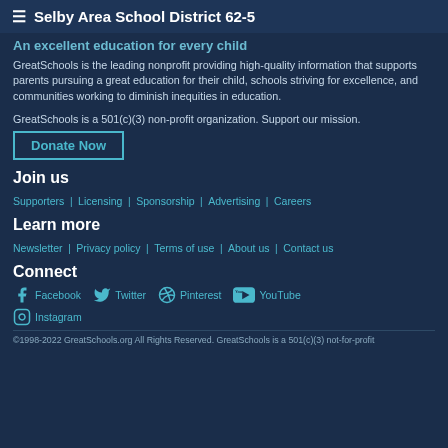Selby Area School District 62-5
An excellent education for every child
GreatSchools is the leading nonprofit providing high-quality information that supports parents pursuing a great education for their child, schools striving for excellence, and communities working to diminish inequities in education.
GreatSchools is a 501(c)(3) non-profit organization. Support our mission.
Donate Now
Join us
Supporters
Licensing
Sponsorship
Advertising
Careers
Learn more
Newsletter
Privacy policy
Terms of use
About us
Contact us
Connect
Facebook
Twitter
Pinterest
YouTube
Instagram
©1998-2022 GreatSchools.org All Rights Reserved. GreatSchools is a 501(c)(3) not-for-profit